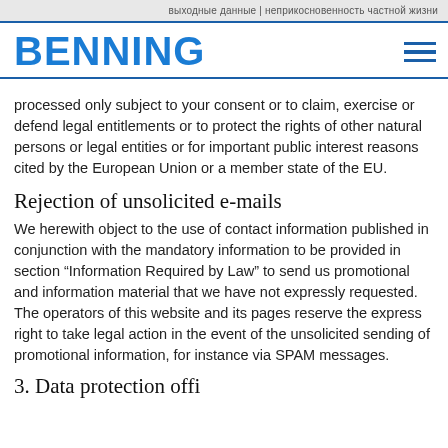выходные данные | неприкосновенность частной жизни
[Figure (logo): BENNING company logo in blue bold text with hamburger menu icon]
processed only subject to your consent or to claim, exercise or defend legal entitlements or to protect the rights of other natural persons or legal entities or for important public interest reasons cited by the European Union or a member state of the EU.
Rejection of unsolicited e-mails
We herewith object to the use of contact information published in conjunction with the mandatory information to be provided in section “Information Required by Law” to send us promotional and information material that we have not expressly requested. The operators of this website and its pages reserve the express right to take legal action in the event of the unsolicited sending of promotional information, for instance via SPAM messages.
3. Data protection offi...